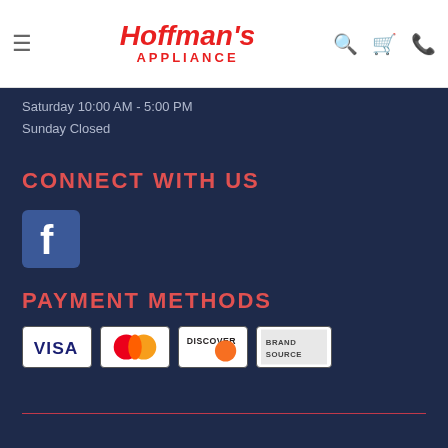Hoffman's Appliance
Saturday 10:00 AM - 5:00 PM
Sunday Closed
CONNECT WITH US
[Figure (logo): Facebook logo icon]
PAYMENT METHODS
[Figure (logo): Payment method logos: Visa, MasterCard, Discover, Brand Source]